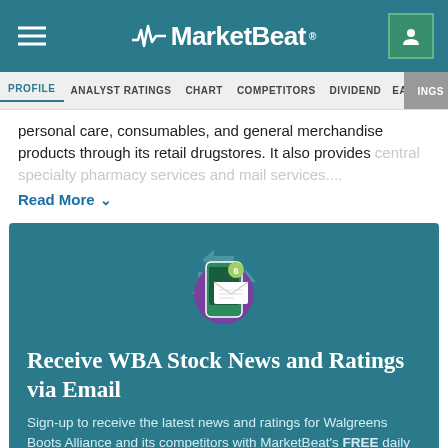MarketBeat
PROFILE  ANALYST RATINGS  CHART  COMPETITORS  DIVIDEND  EARNINGS
personal care, consumables, and general merchandise products through its retail drugstores. It also provides central specialty pharmacy services and mail services....
Read More
[Figure (illustration): Email notification icon: a smartphone with a message badge showing number 6, overlaid with an envelope graphic and circular recycling-style arrows, on a teal background]
Receive WBA Stock News and Ratings via Email
Sign-up to receive the latest news and ratings for Walgreens Boots Alliance and its competitors with MarketBeat's FREE daily newsletter.